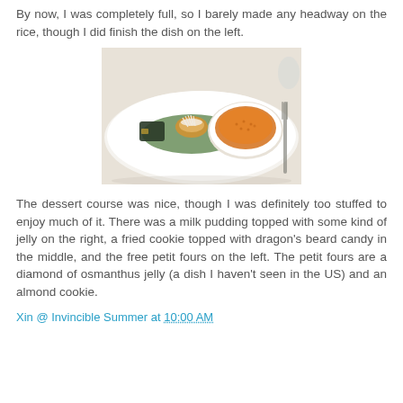By now, I was completely full, so I barely made any headway on the rice, though I did finish the dish on the left.
[Figure (photo): A white plate with three dessert items: on the left a dark gelatinous piece (osmanthus jelly), in the middle a fried cookie topped with dragon's beard candy on a green banana leaf, and on the right a white oval bowl containing milk pudding topped with orange-colored jelly. A fork is visible on the right side.]
The dessert course was nice, though I was definitely too stuffed to enjoy much of it. There was a milk pudding topped with some kind of jelly on the right, a fried cookie topped with dragon's beard candy in the middle, and the free petit fours on the left. The petit fours are a diamond of osmanthus jelly (a dish I haven't seen in the US) and an almond cookie.
Xin @ Invincible Summer at 10:00 AM